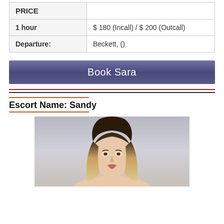| PRICE |  |
| --- | --- |
| 1 hour | $ 180 (Incall) / $ 200 (Outcall) |
| Departure: | Beckett, () |
Book Sara
Escort Name: Sandy
[Figure (photo): Portrait photo of a blonde woman with layered hair against a light grey background]